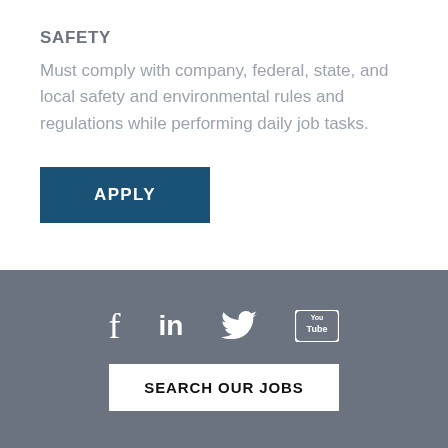SAFETY
Must comply with company, federal, state, and local safety and environmental rules and regulations while performing daily job tasks.
[Figure (other): Blue APPLY button]
Social media icons (Facebook, LinkedIn, Twitter, YouTube) and SEARCH OUR JOBS button